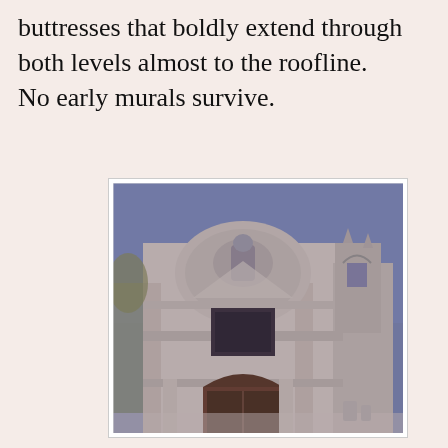buttresses that boldly extend through both levels almost to the roofline.
No early murals survive.
[Figure (photo): Black-and-white/sepia photograph of an old colonial church facade with a rounded arch pediment, carved relief figure, arched wooden door entry, square window opening, and a partial bell tower or wall ruin to the right, under a clear sky.]